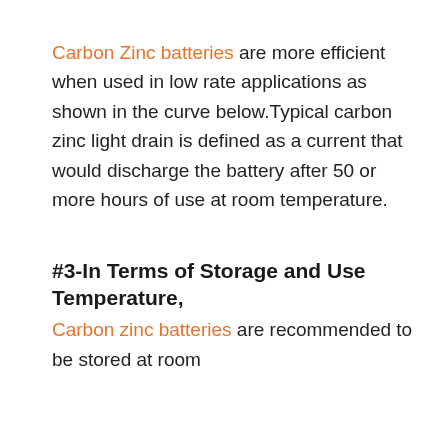Carbon Zinc batteries are more efficient when used in low rate applications as shown in the curve below.Typical carbon zinc light drain is defined as a current that would discharge the battery after 50 or more hours of use at room temperature.
#3-In Terms of Storage and Use Temperature,
Carbon zinc batteries are recommended to be stored at room